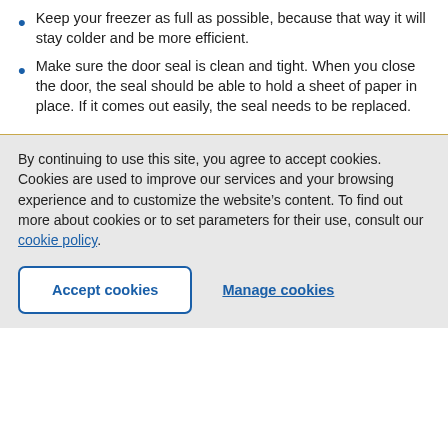Keep your freezer as full as possible, because that way it will stay colder and be more efficient.
Make sure the door seal is clean and tight. When you close the door, the seal should be able to hold a sheet of paper in place. If it comes out easily, the seal needs to be replaced.
By continuing to use this site, you agree to accept cookies. Cookies are used to improve our services and your browsing experience and to customize the website’s content. To find out more about cookies or to set parameters for their use, consult our cookie policy.
Accept cookies
Manage cookies